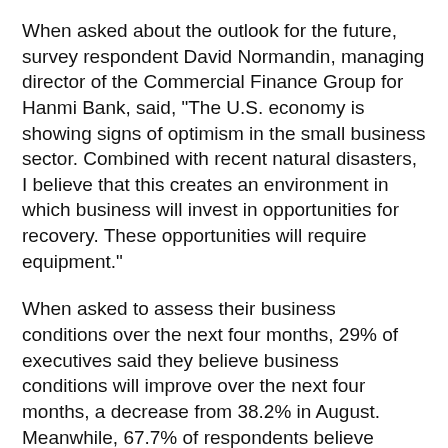When asked about the outlook for the future, survey respondent David Normandin, managing director of the Commercial Finance Group for Hanmi Bank, said, "The U.S. economy is showing signs of optimism in the small business sector. Combined with recent natural disasters, I believe that this creates an environment in which business will invest in opportunities for recovery. These opportunities will require equipment."
When asked to assess their business conditions over the next four months, 29% of executives said they believe business conditions will improve over the next four months, a decrease from 38.2% in August. Meanwhile, 67.7% of respondents believe business conditions will remain the same over the next four months, an increase from 61.8% in August. A small percentage (3.2%) believe business conditions worsen after no respondents indicated so in the previous index.